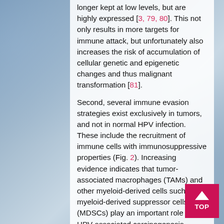longer kept at low levels, but are highly expressed [3, 79, 80]. This not only results in more targets for immune attack, but unfortunately also increases the risk of accumulation of cellular genetic and epigenetic changes and thus malignant transformation [81].
Second, several immune evasion strategies exist exclusively in tumors, and not in normal HPV infection. These include the recruitment of immune cells with immunosuppressive properties (Fig. 2). Increasing evidence indicates that tumor-associated macrophages (TAMs) and other myeloid-derived cells such as myeloid-derived suppressor cells (MDSCs) play an important role in HPV-associated carcinogenesis. TAMs are macrophages differentiated predominantly into a M2 phenotype [82, 83] and are able to suppress antiviral T cell responses [84]. These myeloid cells secrete regulatory cytokines such as IL-10 and